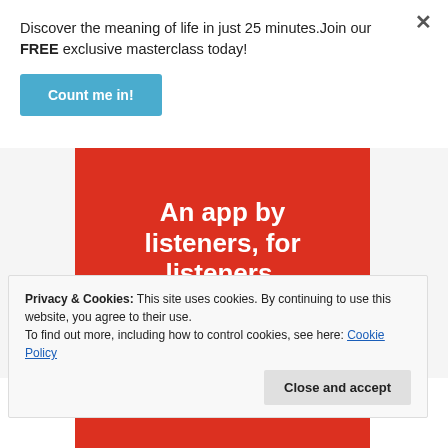Discover the meaning of life in just 25 minutes.Join our FREE exclusive masterclass today!
Count me in!
[Figure (illustration): Red banner advertisement with white bold text reading 'An app by listeners, for listeners.']
Privacy & Cookies: This site uses cookies. By continuing to use this website, you agree to their use.
To find out more, including how to control cookies, see here: Cookie Policy
Close and accept